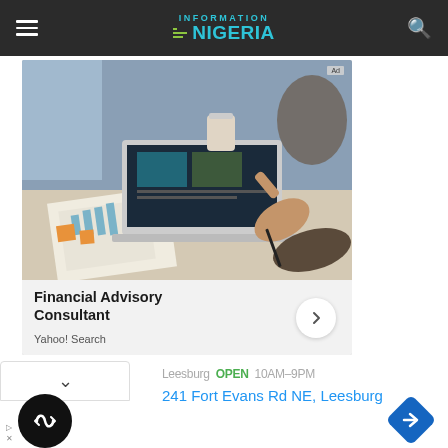Information Nigeria
[Figure (photo): Business professionals at a table with laptops and financial documents, one person pointing at a screen]
Financial Advisory Consultant
Yahoo! Search
Leesburg · OPEN · 10AM-9PM
241 Fort Evans Rd NE, Leesburg
[Figure (logo): Black circle logo with loop/infinity arrows symbol]
[Figure (other): Blue diamond navigation/directions icon]